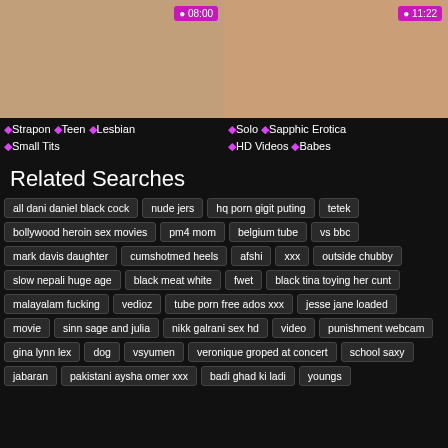[Figure (photo): Thumbnail of adult video with duration 08:00]
[Figure (photo): Thumbnail of adult video with duration 11:22]
♦Strapon ♦Teen ♦Lesbian ♦Small Tits
♦Solo ♦Sapphic Erotica ♦HD Videos ♦Babes
Related Searches
all dani daniel black cock
nude jers
hq porn gigit puting
tetek
bollywood heroin sex movies
pm4 mom
belgium tube
vs bbc
mark davis daughter
cumshotmed heels
afshi
xxx
outside chubby
slow nepali huge age
black meat white
fwet
black tina toying her cunt
malayalam fucking
vedioz
tube porn free ados xxx
jesse jane loaded
movie
sinn sage and julia
nikk galrani sex hd
video
punishment webcam
gina lynn lex
dog
vsyumen
veronique groped at concert
school saxy
jabaran
pakistani aysha omer xxx
badi ghad ki ladi
youngs